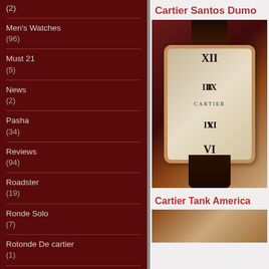(2)
Men's Watches
(96)
Must 21
(5)
News
(2)
Pasha
(34)
Reviews
(94)
Roadster
(19)
Ronde Solo
(7)
Rotonde De cartier
(1)
Santos
(37)
Cartier Santos Dumo
[Figure (photo): Close-up photo of a Cartier Santos Dumont watch with cream dial, Roman numerals, rose gold case, and dark brown leather strap on dark red background]
Cartier Tank America